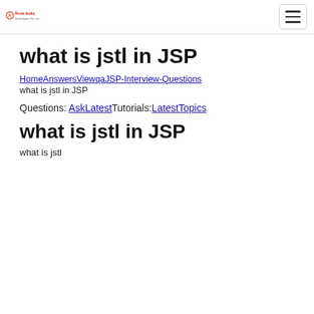Rose India [logo] | [hamburger menu]
what is jstl in JSP
HomeAnswersViewqaJSP-Interview-Questions
what is jstl in JSP
Questions: AskLatestTutorials:LatestTopics
what is jstl in JSP
what is jstl